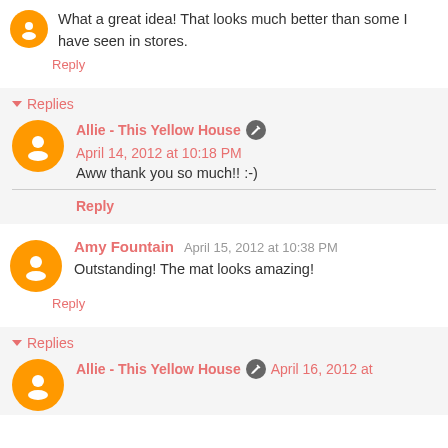What a great idea! That looks much better than some I have seen in stores.
Reply
Replies
Allie - This Yellow House  April 14, 2012 at 10:18 PM
Aww thank you so much!! :-)
Reply
Amy Fountain  April 15, 2012 at 10:38 PM
Outstanding! The mat looks amazing!
Reply
Replies
Allie - This Yellow House  April 16, 2012 at